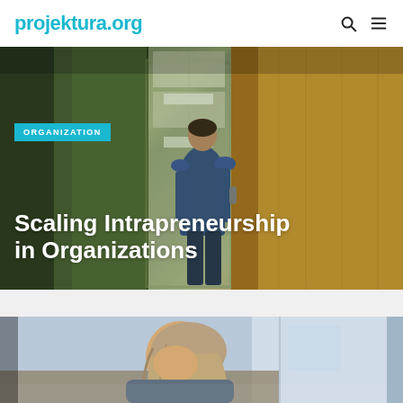projektura.org
[Figure (photo): A man in a blue suit jacket viewed from behind, walking through an open wooden door into a corridor with green-tinted walls and office ceiling lights.]
ORGANIZATION
Scaling Intrapreneurship in Organizations
[Figure (photo): A woman with long blonde hair seen from above, sitting at a desk, looking downward toward a window with a blurred office background.]